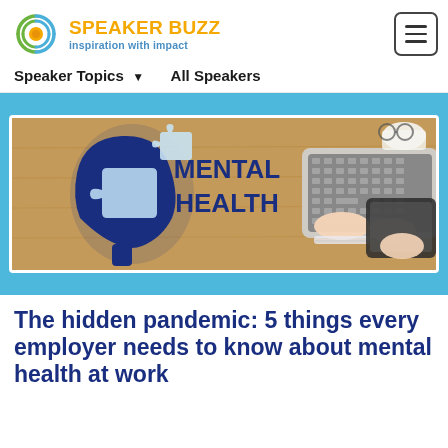SPEAKER BUZZ inspiration with impact — Speaker Topics  All Speakers
[Figure (illustration): Mental health themed banner: left side shows a blue silhouette of a head with puzzle pieces; center text reads MENTAL HEALTH in bold dark blue; right side shows a person's hands working at a laptop and tablet on a wooden desk.]
The hidden pandemic: 5 things every employer needs to know about mental health at work